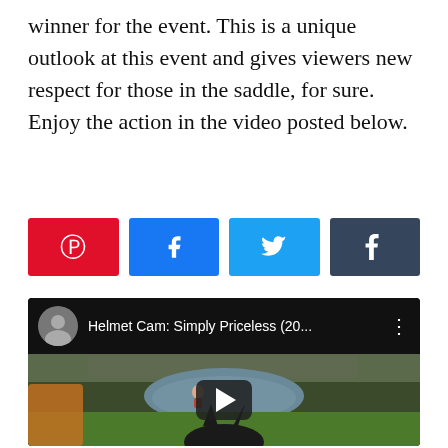winner for the event. This is a unique outlook at this event and gives viewers new respect for those in the saddle, for sure. Enjoy the action in the video posted below.
[Figure (other): Social sharing buttons: Pinterest (red), Facebook (blue), Twitter (light blue), Tumblr (dark grey)]
[Figure (screenshot): YouTube video embed showing 'Helmet Cam: Simply Priceless (20...' with a thumbnail of a horse approaching a water jump at an equestrian cross-country event, crowd visible in background. Play button in center.]